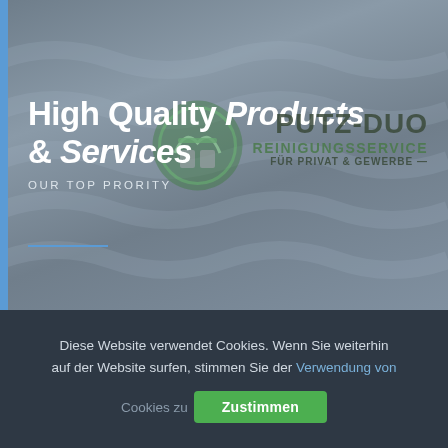[Figure (screenshot): Website hero banner with gray wavy background, blue left accent bar, white bold headline 'High Quality Products & Services', subheading 'OUR TOP PRORITY', overlaid with Putz-Duo Reinigungsservice logo/branding text and circular green logo graphic, with a blue horizontal rule near the bottom of the hero area.]
Diese Website verwendet Cookies. Wenn Sie weiterhin auf der Website surfen, stimmen Sie der Verwendung von Cookies zu
Zustimmen